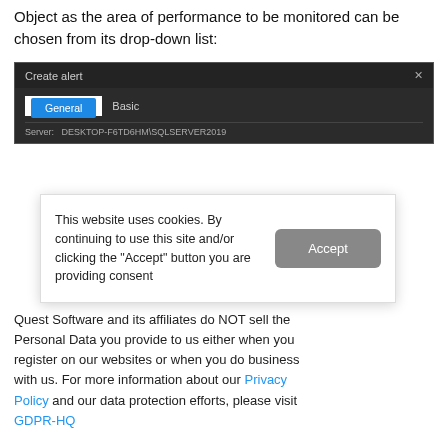Object as the area of performance to be monitored can be chosen from its drop-down list:
[Figure (screenshot): A dark-themed 'Create alert' dialog window with 'General' (blue highlighted tab) and 'Basic' tabs visible, and a server field showing 'DESKTOP-F6TD6HM\SQLSERVER2019' partially visible at the bottom.]
This website uses cookies. By continuing to use this site and/or clicking the "Accept" button you are providing consent
Quest Software and its affiliates do NOT sell the Personal Data you provide to us either when you register on our websites or when you do business with us. For more information about our Privacy Policy and our data protection efforts, please visit GDPR-HQ